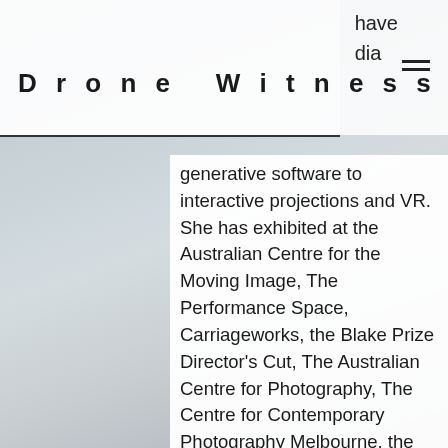Drone Witnessing
have
dia
generative software to interactive projections and VR. She has exhibited at the Australian Centre for the Moving Image, The Performance Space, Carriageworks, the Blake Prize Director's Cut, The Australian Centre for Photography, The Centre for Contemporary Photography Melbourne, the International Symposium for Electronic Art Sydney, Belfast and Helsinki, Experimenta, the Art Gallery of NSW and the Sydney Opera House amongst others. As a new media dramaturge, Kate has brought her considerable